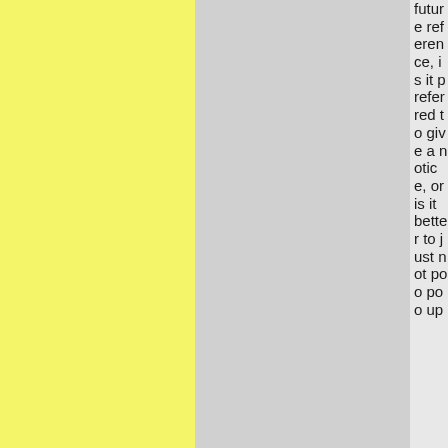future reference, is it preferred to give a notice, or is it better to just not poo poo up